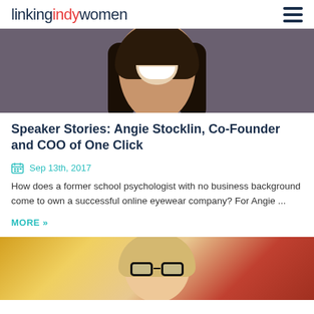linking indy women
[Figure (photo): Close-up photo of a smiling woman with dark hair against a gray background]
Speaker Stories: Angie Stocklin, Co-Founder and COO of One Click
Sep 13th, 2017
How does a former school psychologist with no business background come to own a successful online eyewear company? For Angie ...
MORE »
[Figure (photo): Photo of a woman with blonde hair and glasses against a colorful background]